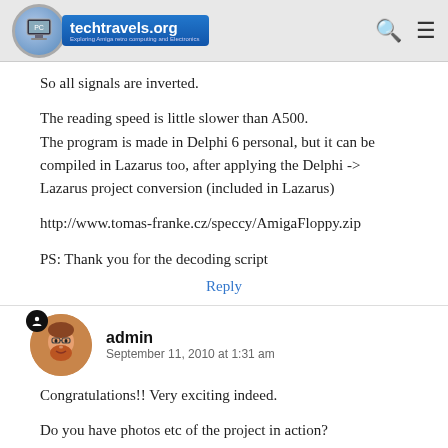techtravels.org — Exploring Amiga retro computing and Electronics
So all signals are inverted.
The reading speed is little slower than A500.
The program is made in Delphi 6 personal, but it can be compiled in Lazarus too, after applying the Delphi -> Lazarus project conversion (included in Lazarus)
http://www.tomas-franke.cz/speccy/AmigaFloppy.zip
PS: Thank you for the decoding script
Reply
admin
September 11, 2010 at 1:31 am
Congratulations!! Very exciting indeed.
Do you have photos etc of the project in action?
I'll have to look through your VHDL when I get a